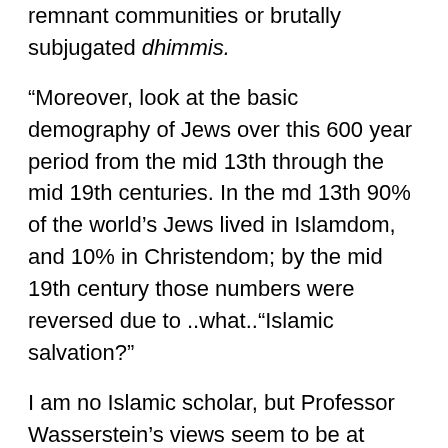remnant communities or brutally subjugated dhimmis.
“Moreover, look at the basic demography of Jews over this 600 year period from the mid 13th through the mid 19th centuries. In the md 13th 90% of the world’s Jews lived in Islamdom, and 10% in Christendom; by the mid 19th century those numbers were reversed due to ..what..“Islamic salvation?”
I am no Islamic scholar, but Professor Wasserstein’s views seem to be at considerable variance with those experts who say that Jews experienced periods where they flourished under Islam, but nonetheless